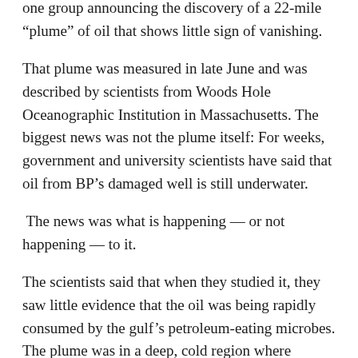one group announcing the discovery of a 22-mile “plume” of oil that shows little sign of vanishing.
That plume was measured in late June and was described by scientists from Woods Hole Oceanographic Institution in Massachusetts. The biggest news was not the plume itself: For weeks, government and university scientists have said that oil from BP’s damaged well is still underwater.
The news was what is happening — or not happening — to it.
The scientists said that when they studied it, they saw little evidence that the oil was being rapidly consumed by the gulf’s petroleum-eating microbes. The plume was in a deep, cold region where microbes tend to work slowly.